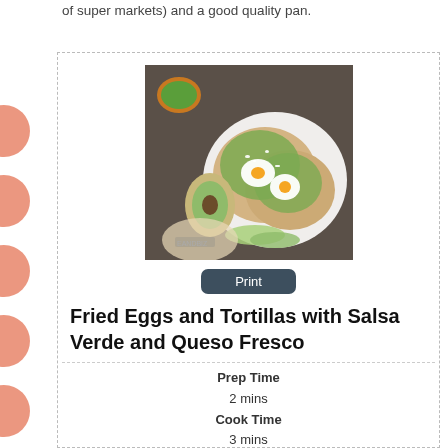of super markets) and a good quality pan.
[Figure (photo): Overhead photo of fried eggs on tortillas topped with salsa verde and queso fresco, with avocado slices and a small bowl of green salsa on a plate.]
Print
Fried Eggs and Tortillas with Salsa Verde and Queso Fresco
Prep Time
2 mins
Cook Time
3 mins
Total Time
5 mins
A quick, easy and delicious breakfast, lunch or dinner.
Course: Breakfast
Cuisine: Mexican